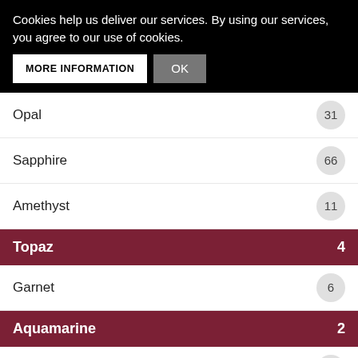Cookies help us deliver our services. By using our services, you agree to our use of cookies.
Opal — 31
Sapphire — 66
Amethyst — 11
Topaz — 4
Garnet — 6
Aquamarine — 2
Ruby — 61
Citrine — 5
Emerald — 45
Peridot — 4
Pearl — 16